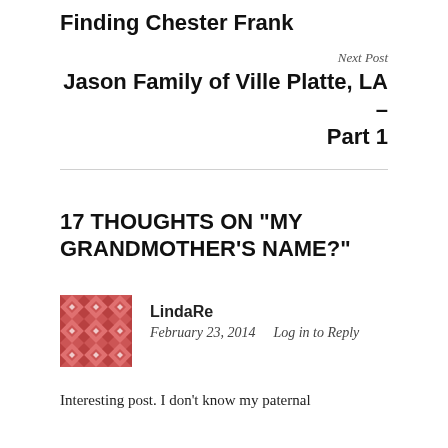Finding Chester Frank
Next Post
Jason Family of Ville Platte, LA – Part 1
17 THOUGHTS ON “MY GRANDMOTHER’S NAME?”
[Figure (illustration): Red/pink decorative avatar with geometric quilt-like pattern of diamonds and stars]
LindaRe
February 23, 2014   Log in to Reply
Interesting post. I don’t know my paternal